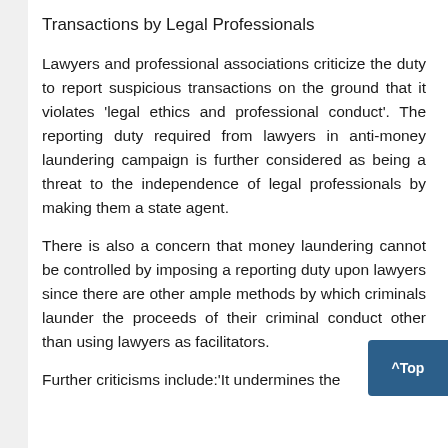Transactions by Legal Professionals
Lawyers and professional associations criticize the duty to report suspicious transactions on the ground that it violates ‘legal ethics and professional conduct’. The reporting duty required from lawyers in anti-money laundering campaign is further considered as being a threat to the independence of legal professionals by making them a state agent.
There is also a concern that money laundering cannot be controlled by imposing a reporting duty upon lawyers since there are other ample methods by which criminals launder the proceeds of their criminal conduct other than using lawyers as facilitators.
Further criticisms include:‘It undermines the